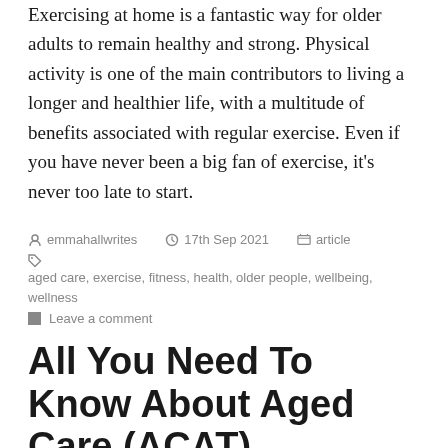Exercising at home is a fantastic way for older adults to remain healthy and strong. Physical activity is one of the main contributors to living a longer and healthier life, with a multitude of benefits associated with regular exercise. Even if you have never been a big fan of exercise, it's never too late to start.
Posted by emmahallwrites  17th Sep 2021  article  Tags: aged care, exercise, fitness, health, older people, wellbeing, wellness  Leave a comment
All You Need To Know About Aged Care (ACAT)